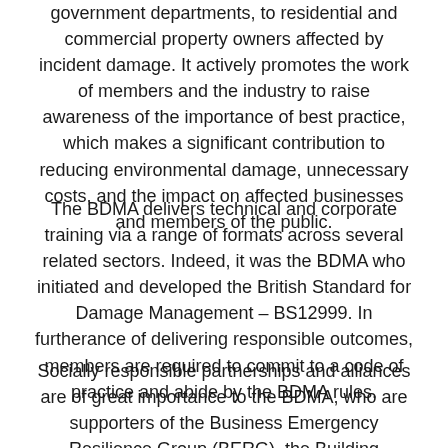government departments, to residential and commercial property owners affected by incident damage. It actively promotes the work of members and the industry to raise awareness of the importance of best practice, which makes a significant contribution to reducing environmental damage, unnecessary costs, and the impact on affected businesses and members of the public.
The BDMA delivers technical and corporate training via a range of formats across several related sectors. Indeed, it was the BDMA who initiated and developed the British Standard for Damage Management – BS12999. In furtherance of delivering responsible outcomes, members are required to commit to a code of practice and abide by the BDMA rules.
Socially responsible partnerships and alliances are of great importance to the BDMA, who are supporters of the Business Emergency Resilience Group (BERG), the Building Research Establishment's Green iPractitioner and the UK Contractors Met...